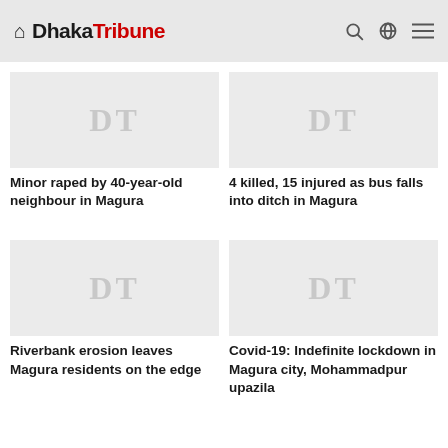Dhaka Tribune
[Figure (photo): Placeholder image with DT watermark for article: Minor raped by 40-year-old neighbour in Magura]
Minor raped by 40-year-old neighbour in Magura
[Figure (photo): Placeholder image with DT watermark for article: 4 killed, 15 injured as bus falls into ditch in Magura]
4 killed, 15 injured as bus falls into ditch in Magura
[Figure (photo): Placeholder image with DT watermark for article: Riverbank erosion leaves Magura residents on the edge]
Riverbank erosion leaves Magura residents on the edge
[Figure (photo): Placeholder image with DT watermark for article: Covid-19: Indefinite lockdown in Magura city, Mohammadpur upazila]
Covid-19: Indefinite lockdown in Magura city, Mohammadpur upazila